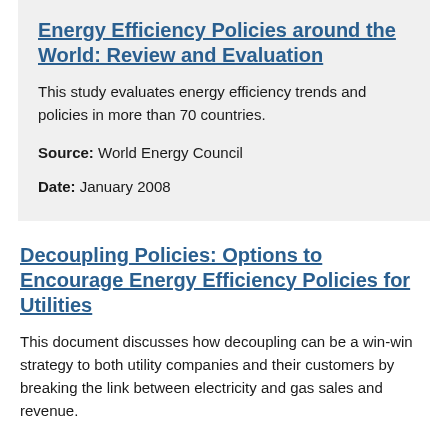Energy Efficiency Policies around the World: Review and Evaluation
This study evaluates energy efficiency trends and policies in more than 70 countries.
Source: World Energy Council
Date: January 2008
Decoupling Policies: Options to Encourage Energy Efficiency Policies for Utilities
This document discusses how decoupling can be a win-win strategy to both utility companies and their customers by breaking the link between electricity and gas sales and revenue.